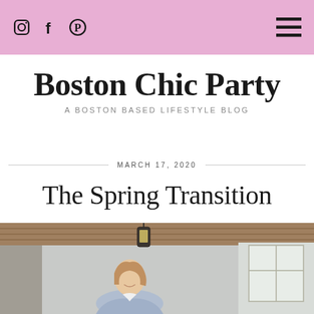Instagram | Facebook | Pinterest | Menu
Boston Chic Party
A BOSTON BASED LIFESTYLE BLOG
MARCH 17, 2020
The Spring Transition
[Figure (photo): Woman smiling on a porch, wearing a light blue blazer and white top, photographed outdoors near a house entrance with a hanging lantern]